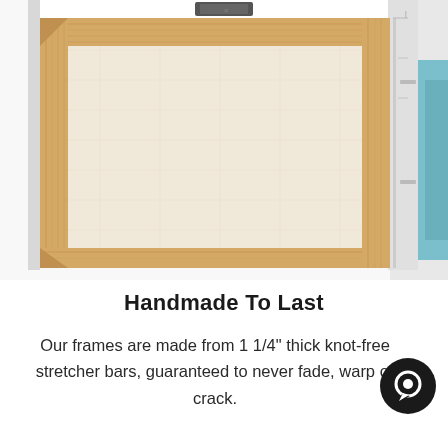[Figure (photo): Close-up photo of the back of a canvas stretcher frame, showing the wooden pine stretcher bars and canvas fabric stretched over them. A small metal hanging clip is visible at the top center. The right edge shows a glimpse of a blue artwork peeking from the front.]
Handmade To Last
Our frames are made from 1 1/4" thick knot-free stretcher bars, guaranteed to never fade, warp or crack.